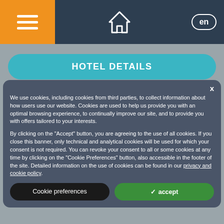Navigation bar with menu, home, and language (en) buttons
HOTEL DETAILS
We use cookies, including cookies from third parties, to collect information about how users use our website. Cookies are used to help us provide you with an optimal browsing experience, to continually improve our site, and to provide you with offers tailored to your interests.
By clicking on the "Accept" button, you are agreeing to the use of all cookies. If you close this banner, only technical and analytical cookies will be used for which your consent is not required. You can revoke your consent to all or some cookies at any time by clicking on the "Cookie Preferences" button, also accessible in the footer of the site. Detailed information on the use of cookies can be found in our privacy and cookie policy.
Cookie preferences
accept